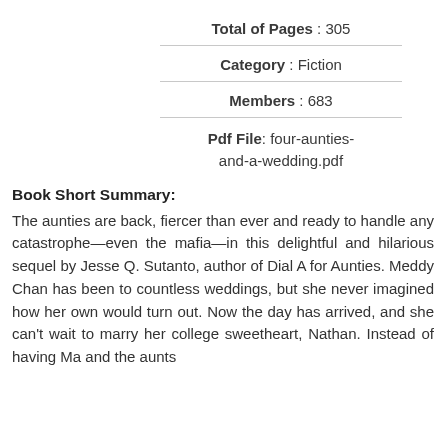Total of Pages : 305
Category : Fiction
Members : 683
Pdf File: four-aunties-and-a-wedding.pdf
Book Short Summary:
The aunties are back, fiercer than ever and ready to handle any catastrophe—even the mafia—in this delightful and hilarious sequel by Jesse Q. Sutanto, author of Dial A for Aunties. Meddy Chan has been to countless weddings, but she never imagined how her own would turn out. Now the day has arrived, and she can't wait to marry her college sweetheart, Nathan. Instead of having Ma and the aunts